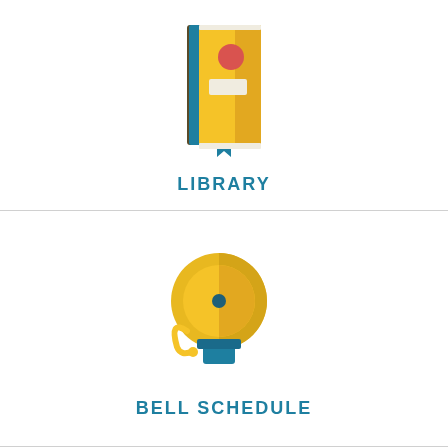[Figure (illustration): Flat design icon of a yellow/gold book with a red circle on the cover and a teal bookmark at the bottom]
LIBRARY
[Figure (illustration): Flat design icon of a school bell (alarm bell) in yellow/gold with a teal base mount and a curved hammer/clapper arm]
BELL SCHEDULE